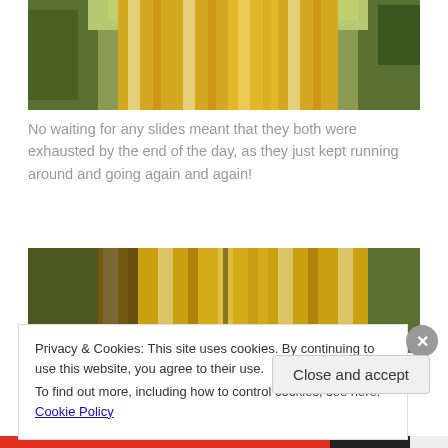[Figure (photo): Yellow water slide with ridged surface, surrounded by green trees/plants in sunlight]
No waiting for any slides meant that they both were exhausted by the end of the day, as they just kept running around and going again and again!
[Figure (photo): Yellow water slides with ribbed texture, partially in shadow, surrounded by greenery]
Privacy & Cookies: This site uses cookies. By continuing to use this website, you agree to their use.
To find out more, including how to control cookies, see here: Cookie Policy